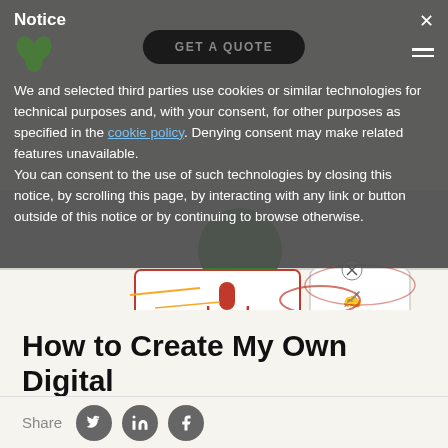Notice
We and selected third parties use cookies or similar technologies for technical purposes and, with your consent, for other purposes as specified in the cookie policy. Denying consent may make related features unavailable.
You can consent to the use of such technologies by closing this notice, by scrolling this page, by interacting with any link or button outside of this notice or by continuing to browse otherwise.
[Figure (illustration): Digital assistant illustration showing a microphone input box with red microphone icon, a green circle, and a signature/document box with an X button overlay]
How to Create My Own Digital Assistant like Siri
Share